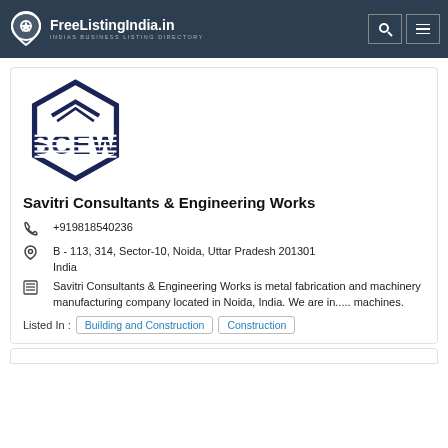FreeListingIndia.in — INDIAS BUSINESS LISTING DIRECTORY
[Figure (logo): SCEW hexagonal logo with text SCEW inside]
Savitri Consultants & Engineering Works
+919818540236
B - 113, 314, Sector-10, Noida, Uttar Pradesh 201301 India
Savitri Consultants & Engineering Works is metal fabrication and machinery manufacturing company located in Noida, India. We are in..... machines.
Listed In : Building and Construction  Construction